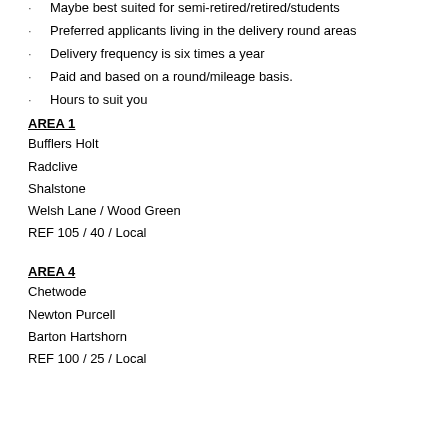Maybe best suited for semi-retired/retired/students
Preferred applicants living in the delivery round areas
Delivery frequency is six times a year
Paid and based on a round/mileage basis.
Hours to suit you
AREA 1
Bufflers Holt
Radclive
Shalstone
Welsh Lane / Wood Green
REF 105 / 40 / Local
AREA 4
Chetwode
Newton Purcell
Barton Hartshorn
REF 100 / 25 / Local